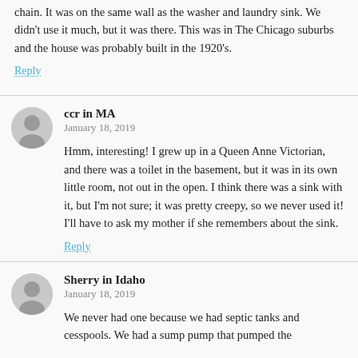chain. It was on the same wall as the washer and laundry sink. We didn't use it much, but it was there. This was in The Chicago suburbs and the house was probably built in the 1920's.
Reply
ccr in MA
January 18, 2019
Hmm, interesting! I grew up in a Queen Anne Victorian, and there was a toilet in the basement, but it was in its own little room, not out in the open. I think there was a sink with it, but I'm not sure; it was pretty creepy, so we never used it! I'll have to ask my mother if she remembers about the sink.
Reply
Sherry in Idaho
January 18, 2019
We never had one because we had septic tanks and cesspools. We had a sump pump that pumped the